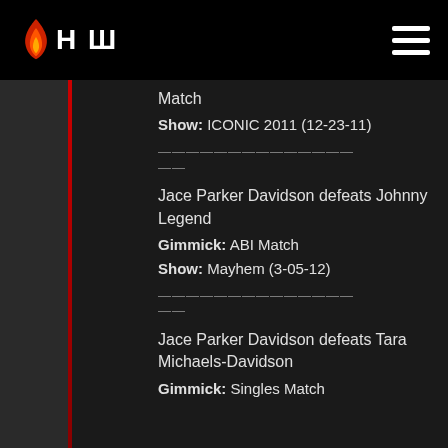HCW logo and navigation header
Match
Show: ICONIC 2011 (12-23-11)
——————————————
——
Jace Parker Davidson defeats Johnny Legend
Gimmick: ABI Match
Show: Mayhem (3-05-12)
——————————————
——
Jace Parker Davidson defeats Tara Michaels-Davidson
Gimmick: Singles Match